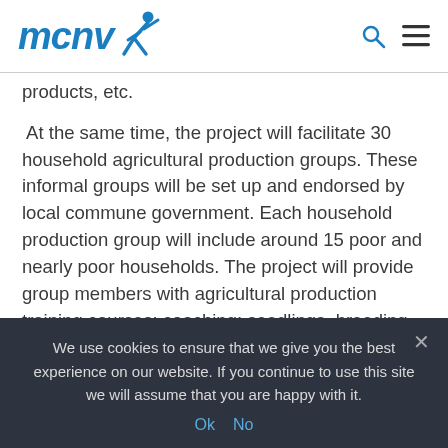MCNV [logo with running figure icon, search icon, menu icon]
products, etc.
At the same time, the project will facilitate 30 household agricultural production groups. These informal groups will be set up and endorsed by local commune government. Each household production group will include around 15 poor and nearly poor households. The project will provide group members with agricultural production training courses; coaching; seedlings, breeding for improving current crops or implementing alternative cash and non-cash crops. Female members will work together to
We use cookies to ensure that we give you the best experience on our website. If you continue to use this site we will assume that you are happy with it.
Ok  No